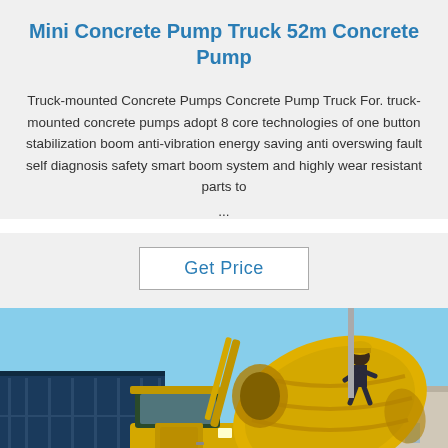Mini Concrete Pump Truck 52m Concrete Pump
Truck-mounted Concrete Pumps Concrete Pump Truck For. truck-mounted concrete pumps adopt 8 core technologies of one button stabilization boom anti-vibration energy saving anti overswing fault self diagnosis safety smart boom system and highly wear resistant parts to ...
Get Price
[Figure (photo): A yellow concrete mixer truck with a large rotating drum. A worker in hard hat is visible on top of the drum. Blue shipping containers are visible on the left side. Trees and a building in the background. Clear blue sky. A 'TOP' watermark logo appears in the bottom right corner.]